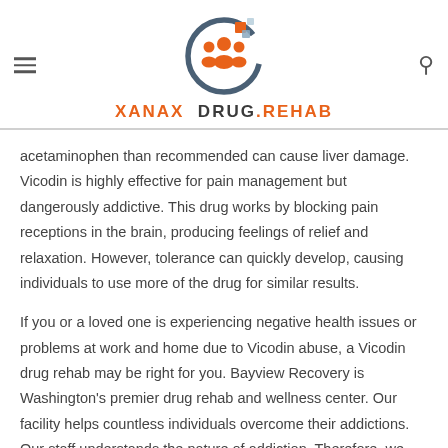[Figure (logo): Xanax Drug Rehab logo: circular icon with orange people silhouettes and colored squares, above the text XANAX DRUG.REHAB]
acetaminophen than recommended can cause liver damage. Vicodin is highly effective for pain management but dangerously addictive. This drug works by blocking pain receptions in the brain, producing feelings of relief and relaxation. However, tolerance can quickly develop, causing individuals to use more of the drug for similar results.
If you or a loved one is experiencing negative health issues or problems at work and home due to Vicodin abuse, a Vicodin drug rehab may be right for you. Bayview Recovery is Washington's premier drug rehab and wellness center. Our facility helps countless individuals overcome their addictions. Our staff understands the nature of addiction. Therefore, we strive to